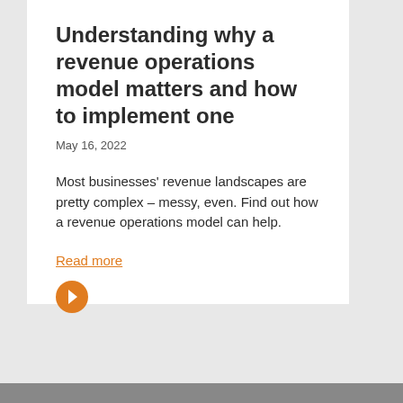Understanding why a revenue operations model matters and how to implement one
May 16, 2022
Most businesses' revenue landscapes are pretty complex – messy, even. Find out how a revenue operations model can help.
Read more
[Figure (illustration): Orange circle with a white right-pointing chevron arrow inside]